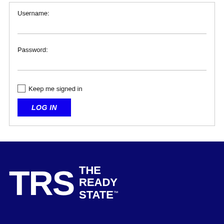Username:
Password:
Keep me signed in
LOG IN
[Figure (logo): TRS The Ready State logo — white text on dark navy background. Large bold letters TRS on the left, with THE READY STATE™ stacked text on the right.]